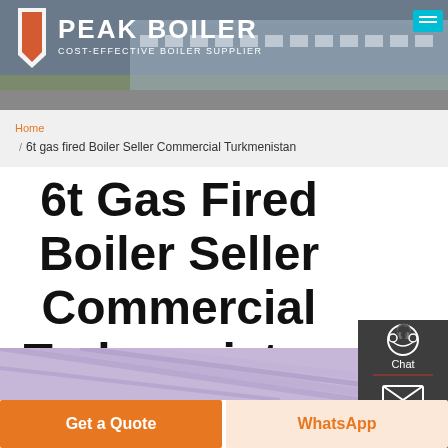[Figure (logo): Peak Boiler logo with factory building background header banner, cost-effective boiler supplier]
Home
/ 6t gas fired Boiler Seller Commercial Turkmenistan
6t Gas Fired Boiler Seller Commercial Turkmenistan
[Figure (photo): Industrial building interior with glass and steel structure, purple/blue tone]
Get a Quote
WhatsApp